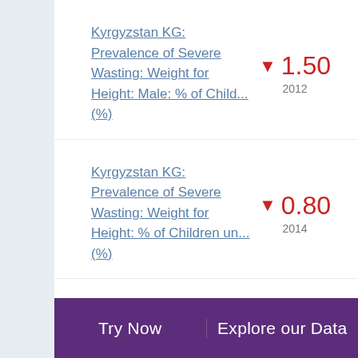Kyrgyzstan KG: Prevalence of Severe Wasting: Weight for Height: Male: % of Child... (%)
Kyrgyzstan KG: Prevalence of Severe Wasting: Weight for Height: % of Children un... (%)
Kyrgyzstan KG: Female Adults with HIV: % of Population Aged 15+ with HIV (%)
Try Now | Explore our Data